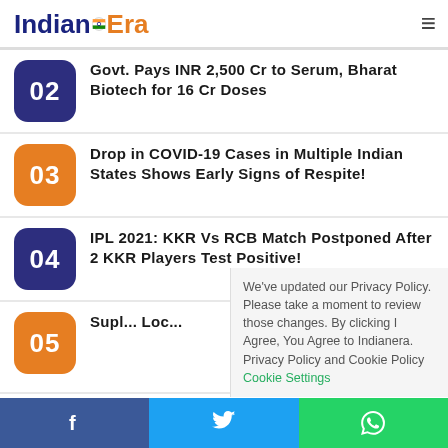IndianEra
02 Govt. Pays INR 2,500 Cr to Serum, Bharat Biotech for 16 Cr Doses
03 Drop in COVID-19 Cases in Multiple Indian States Shows Early Signs of Respite!
04 IPL 2021: KKR Vs RCB Match Postponed After 2 KKR Players Test Positive!
05 Supr... Loc...
We've updated our Privacy Policy. Please take a moment to review those changes. By clicking I Agree, You Agree to Indianera. Privacy Policy and Cookie Policy Cookie Settings
f  Twitter  WhatsApp